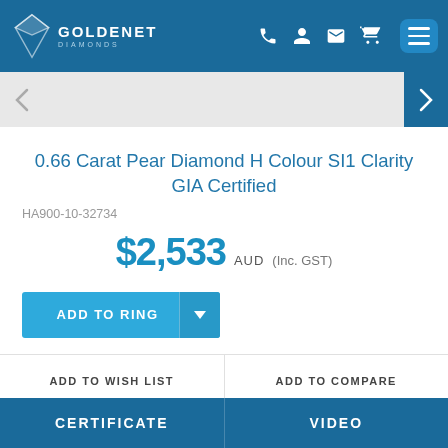GoldeNet
0.66 Carat Pear Diamond H Colour SI1 Clarity GIA Certified
HA900-10-32734
$2,533 AUD (Inc. GST)
ADD TO RING
ADD TO WISH LIST
ADD TO COMPARE
CERTIFICATE
VIDEO